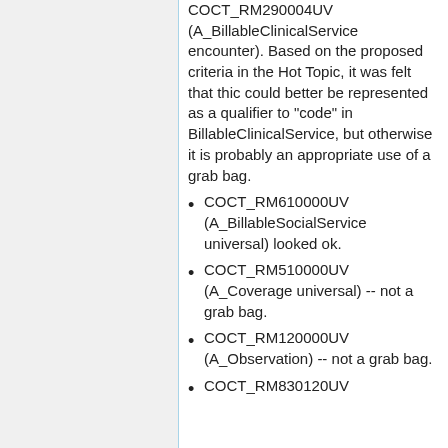COCT_RM290004UV (A_BillableClinicalService encounter). Based on the proposed criteria in the Hot Topic, it was felt that thic could better be represented as a qualifier to "code" in BillableClinicalService, but otherwise it is probably an appropriate use of a grab bag.
COCT_RM610000UV (A_BillableSocialService universal) looked ok.
COCT_RM510000UV (A_Coverage universal) -- not a grab bag.
COCT_RM120000UV (A_Observation) -- not a grab bag.
COCT_RM830120UV